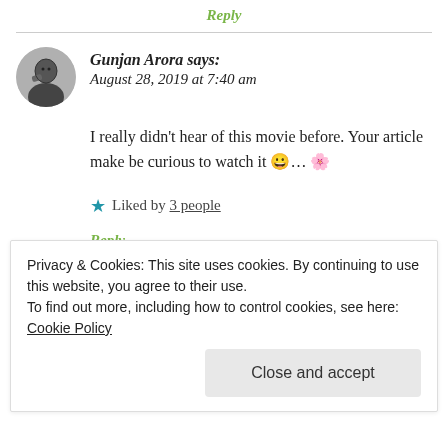Reply
Gunjan Arora says: August 28, 2019 at 7:40 am
I really didn't hear of this movie before. Your article make be curious to watch it 😀... 🌸
★ Liked by 3 people
Reply
Privacy & Cookies: This site uses cookies. By continuing to use this website, you agree to their use.
To find out more, including how to control cookies, see here: Cookie Policy
Close and accept